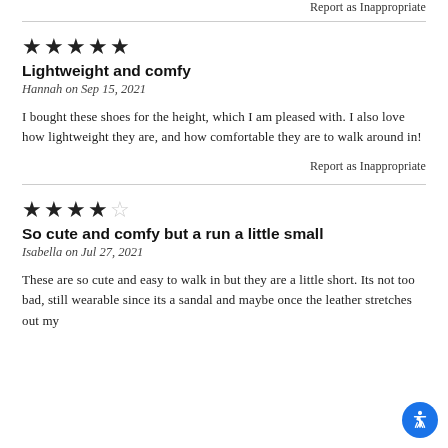Report as Inappropriate
★★★★★
Lightweight and comfy
Hannah on Sep 15, 2021
I bought these shoes for the height, which I am pleased with. I also love how lightweight they are, and how comfortable they are to walk around in!
Report as Inappropriate
★★★★☆
So cute and comfy but a run a little small
Isabella on Jul 27, 2021
These are so cute and easy to walk in but they are a little short. Its not too bad, still wearable since its a sandal and maybe once the leather stretches out my